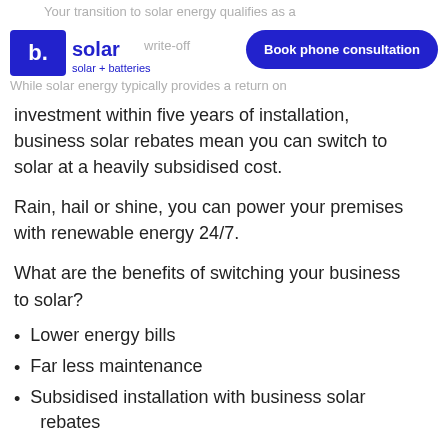Your transition to solar energy qualifies as a write-off
[Figure (logo): b. solar logo — blue square with white 'b.' and blue 'solar' text, tagline 'solar + batteries']
Book phone consultation
While solar energy typically provides a return on investment within five years of installation, business solar rebates mean you can switch to solar at a heavily subsidised cost.
Rain, hail or shine, you can power your premises with renewable energy 24/7.
What are the benefits of switching your business to solar?
Lower energy bills
Far less maintenance
Subsidised installation with business solar rebates